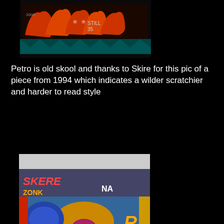[Figure (photo): Graffiti wall art piece with red/orange letters on black background, text 'STILL 35' visible, dated 2008]
Petro is old skool and thanks to Skire for this pic of a piece from 1994 which indicates a wilder scratchier and harder to read style
[Figure (photo): Colorful graffiti mural on a wall showing 'SKERE', 'ZONK', 'NA' and other graffiti lettering with characters, taken in 1994]
photo: Skire
Petro has seized the initiative by hosting his own brief show in The Rag Factory, a corridor like space set back from a